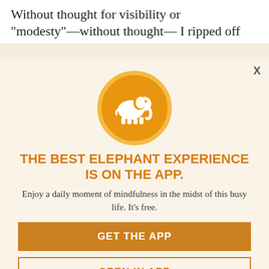Without thought for visibility or “modesty”—without thought—I ripped off
[Figure (screenshot): App promotion modal overlay with elephant logo, headline, subtext, and two call-to-action buttons over a faded article background]
THE BEST ELEPHANT EXPERIENCE IS ON THE APP.
Enjoy a daily moment of mindfulness in the midst of this busy life. It's free.
GET THE APP
OPEN IN APP